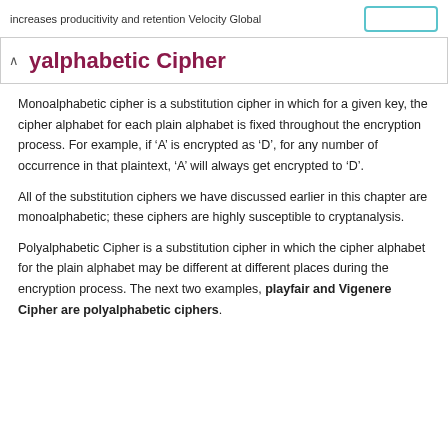increases producitivity and retention Velocity Global
yalphabetic Cipher
Monoalphabetic cipher is a substitution cipher in which for a given key, the cipher alphabet for each plain alphabet is fixed throughout the encryption process. For example, if ‘A’ is encrypted as ‘D’, for any number of occurrence in that plaintext, ‘A’ will always get encrypted to ‘D’.
All of the substitution ciphers we have discussed earlier in this chapter are monoalphabetic; these ciphers are highly susceptible to cryptanalysis.
Polyalphabetic Cipher is a substitution cipher in which the cipher alphabet for the plain alphabet may be different at different places during the encryption process. The next two examples, playfair and Vigenere Cipher are polyalphabetic ciphers.